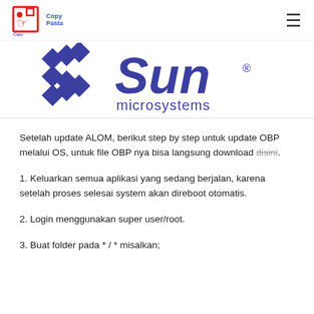CopyPasta [logo] [hamburger menu]
[Figure (logo): Sun Microsystems logo — blue geometric S shape with 'Sun' italic text and 'microsystems' below, in blue/purple color]
Setelah update ALOM, berikut step by step untuk update OBP melalui OS, untuk file OBP nya bisa langsung download disini.
1. Keluarkan semua aplikasi yang sedang berjalan, karena setelah proses selesai system akan direboot otomatis.
2. Login menggunakan super user/root.
3. Buat folder pada * / * misalkan;